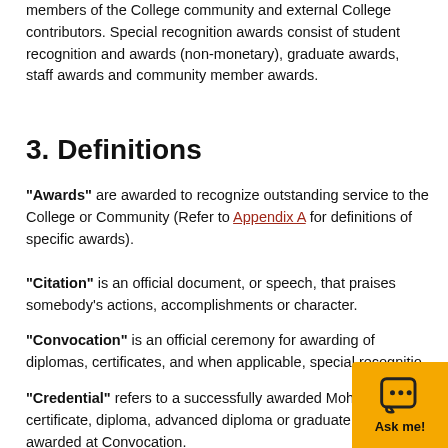members of the College community and external College contributors. Special recognition awards consist of student recognition and awards (non-monetary), graduate awards, staff awards and community member awards.
3. Definitions
"Awards" are awarded to recognize outstanding service to the College or Community (Refer to Appendix A for definitions of specific awards).
"Citation" is an official document, or speech, that praises somebody's actions, accomplishments or character.
"Convocation" is an official ceremony for awarding of diplomas, certificates, and when applicable, special recognitio...
"Credential" refers to a successfully awarded Moha... certificate, diploma, advanced diploma or graduate certificate, awarded at Convocation.